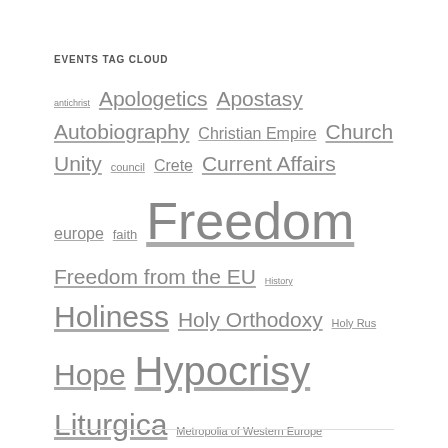EVENTS TAG CLOUD
antichrist Apologetics Apostasy Autobiography Christian Empire Church Unity council Crete Current Affairs europe faith Freedom Freedom from the EU History Holiness Holy Orthodoxy Holy Rus Hope Hypocrisy Liturgica Metropolia of Western Europe Mission New Local Churches Norwich Pastoral Matters Prayer Prophecy Repentance Resistance Restoration Russia Salvation Spiritual Purity Statistics Syria Terrorism The Church The Future Theology The Saints The Ukraine Tragedy Truth Unity Victory
Proudly powered by WordPress